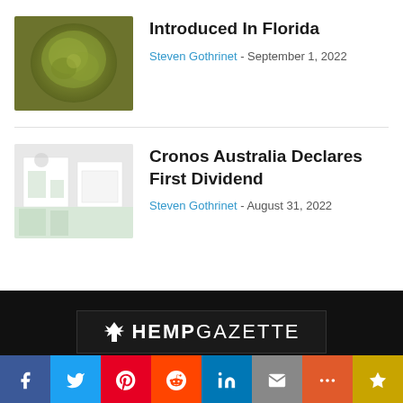[Figure (photo): Close-up photo of cannabis bud]
Introduced In Florida
Steven Gothrinet - September 1, 2022
[Figure (photo): White clinic interior with plants]
Cronos Australia Declares First Dividend
Steven Gothrinet - August 31, 2022
[Figure (logo): Hemp Gazette logo with hemp leaf icon]
ABOUT US
Social share bar: Facebook, Twitter, Pinterest, Reddit, LinkedIn, Email, More, Bookmark